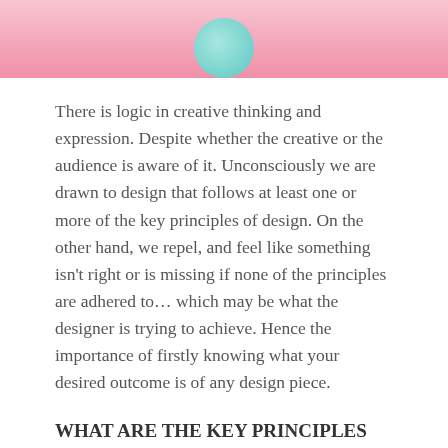[Figure (photo): Partial view of a photo with pink background and a teal/cyan circular object at the bottom center, cropped at the top of the page.]
There is logic in creative thinking and expression. Despite whether the creative or the audience is aware of it. Unconsciously we are drawn to design that follows at least one or more of the key principles of design. On the other hand, we repel, and feel like something isn't right or is missing if none of the principles are adhered to… which may be what the designer is trying to achieve. Hence the importance of firstly knowing what your desired outcome is of any design piece.
WHAT ARE THE KEY PRINCIPLES OF DESIGN